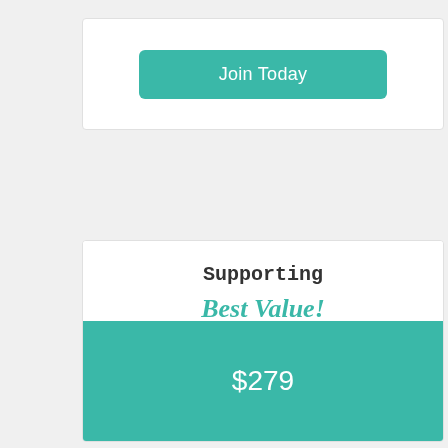Join Today
Supporting
Best Value!
$279